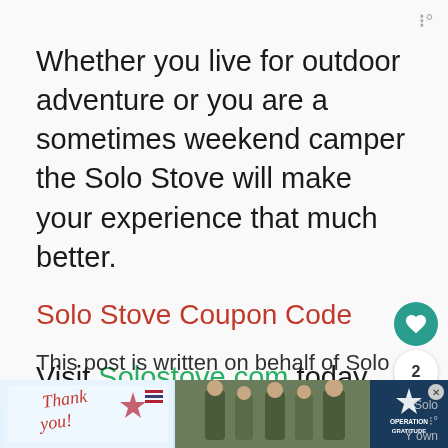w°
Whether you live for outdoor adventure or you are a sometimes weekend camper the Solo Stove will make your experience that much better.
Solo Stove Coupon Code
Visit Solostove.com today and use the coupon code NEWYEAR15 to get 15% off your order today!
[Figure (other): Advertisement banner at the bottom: Operation Gratitude ad with 'Thank you!' text and soldier image]
This post is written on behalf of Solo